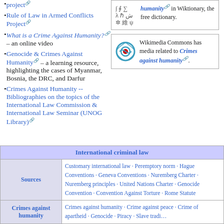project
Rule of Law in Armed Conflicts Project
What is a Crime Against Humanity? – an online video
Genocide & Crimes Against Humanity – a learning resource, highlighting the cases of Myanmar, Bosnia, the DRC, and Darfur
Crimes Against Humanity -- Bibliographies on the topics of the International Law Commission & International Law Seminar (UNOG Library)
[Figure (other): Wiktionary sidebar box with multilingual characters and link to 'humanity' in Wiktionary, the free dictionary.]
[Figure (other): Wikimedia Commons sidebar box with Commons logo and link to 'Crimes against humanity'.]
| International criminal law |
| --- |
| Sources | Customary international law · Peremptory norm · Hague Conventions · Geneva Conventions · Nuremberg Charter · Nuremberg principles · United Nations Charter · Genocide Convention · Convention Against Torture · Rome Statute |
| Crimes against humanity | Crimes against humanity · Crime against peace · Crime of apartheid · Genocide · Piracy · Slave trading... |